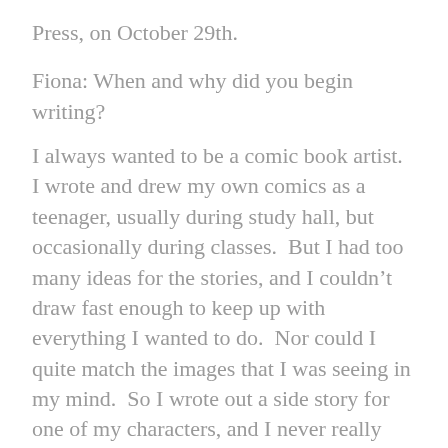Press, on October 29th.
Fiona: When and why did you begin writing?
I always wanted to be a comic book artist.  I wrote and drew my own comics as a teenager, usually during study hall, but occasionally during classes.  But I had too many ideas for the stories, and I couldn't draw fast enough to keep up with everything I wanted to do.  Nor could I quite match the images that I was seeing in my mind.  So I wrote out a side story for one of my characters, and I never really looked back after that.
Fiona: When did you first consider yourself a writer?